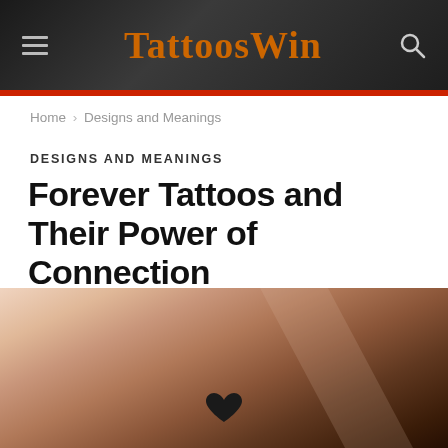TattoosWin
Home › Designs and Meanings
DESIGNS AND MEANINGS
Forever Tattoos and Their Power of Connection
[Figure (photo): Close-up photo of a wrist with a small heart tattoo, skin tones with soft lighting and diagonal element]